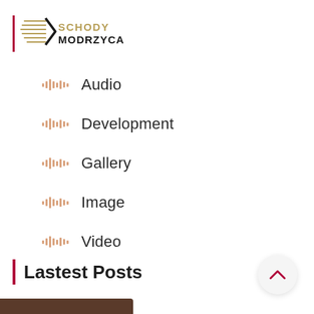[Figure (logo): Schody Modrzyca logo with diagonal lines graphic and text SCHODY MODRZYCA]
Audio
Development
Gallery
Image
Video
Lastest Posts